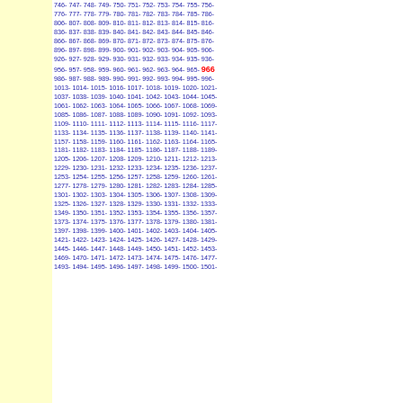746- 747- 748- 749- 750- 751- 752- 753- 754- 755- 756- 776- 777- 778- 779- 780- 781- 782- 783- 784- 785- 786- 806- 807- 808- 809- 810- 811- 812- 813- 814- 815- 816- 836- 837- 838- 839- 840- 841- 842- 843- 844- 845- 846- 866- 867- 868- 869- 870- 871- 872- 873- 874- 875- 876- 896- 897- 898- 899- 900- 901- 902- 903- 904- 905- 906- 926- 927- 928- 929- 930- 931- 932- 933- 934- 935- 936- 956- 957- 958- 959- 960- 961- 962- 963- 964- 965- 966 986- 987- 988- 989- 990- 991- 992- 993- 994- 995- 996- 1013- 1014- 1015- 1016- 1017- 1018- 1019- 1020- 1021- 1037- 1038- 1039- 1040- 1041- 1042- 1043- 1044- 1045- 1061- 1062- 1063- 1064- 1065- 1066- 1067- 1068- 1069- 1085- 1086- 1087- 1088- 1089- 1090- 1091- 1092- 1093- 1109- 1110- 1111- 1112- 1113- 1114- 1115- 1116- 1117- 1133- 1134- 1135- 1136- 1137- 1138- 1139- 1140- 1141- 1157- 1158- 1159- 1160- 1161- 1162- 1163- 1164- 1165- 1181- 1182- 1183- 1184- 1185- 1186- 1187- 1188- 1189- 1205- 1206- 1207- 1208- 1209- 1210- 1211- 1212- 1213- 1229- 1230- 1231- 1232- 1233- 1234- 1235- 1236- 1237- 1253- 1254- 1255- 1256- 1257- 1258- 1259- 1260- 1261- 1277- 1278- 1279- 1280- 1281- 1282- 1283- 1284- 1285- 1301- 1302- 1303- 1304- 1305- 1306- 1307- 1308- 1309- 1325- 1326- 1327- 1328- 1329- 1330- 1331- 1332- 1333- 1349- 1350- 1351- 1352- 1353- 1354- 1355- 1356- 1357- 1373- 1374- 1375- 1376- 1377- 1378- 1379- 1380- 1381- 1397- 1398- 1399- 1400- 1401- 1402- 1403- 1404- 1405- 1421- 1422- 1423- 1424- 1425- 1426- 1427- 1428- 1429- 1445- 1446- 1447- 1448- 1449- 1450- 1451- 1452- 1453- 1469- 1470- 1471- 1472- 1473- 1474- 1475- 1476- 1477- 1493- 1494- 1495- 1496- 1497- 1498- 1499- 1500- 1501-